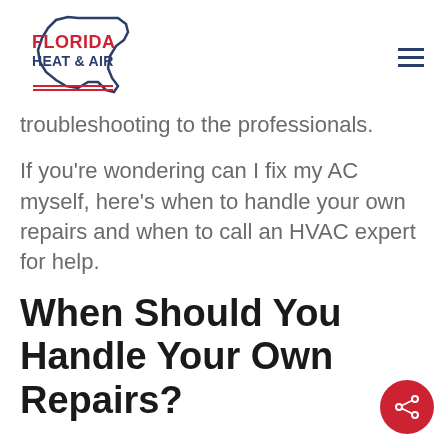[Figure (logo): Florida Heat & Air logo with Florida state outline in blue and red text]
troubleshooting to the professionals.
If you're wondering can I fix my AC myself, here's when to handle your own repairs and when to call an HVAC expert for help.
When Should You Handle Your Own Repairs?